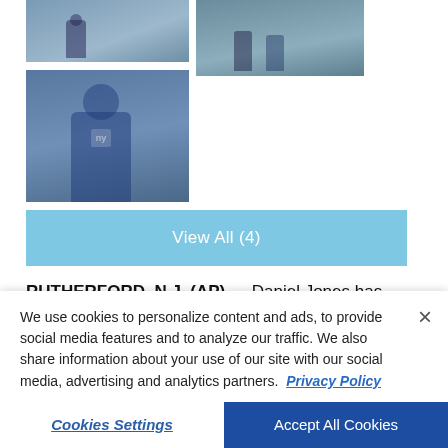[Figure (photo): Sports photos showing New York Giants players and coaches at practice, arranged in a grid layout]
View All (4)
RUTHERFORD, N.J. (AP) — Daniel Jones has rarely given any insight into his feelings in his three seasons...
We use cookies to personalize content and ads, to provide social media features and to analyze our traffic. We also share information about your use of our site with our social media, advertising and analytics partners. Privacy Policy
Cookies Settings
Accept All Cookies